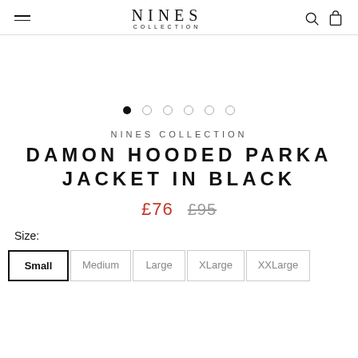NINES COLLECTION
[Figure (other): Carousel navigation dots, 6 total, first dot filled black, rest are empty/outlined circles]
NINES COLLECTION
DAMON HOODED PARKA JACKET IN BLACK
£76  £95
Size:
Small  Medium  Large  XLarge  XXLarge